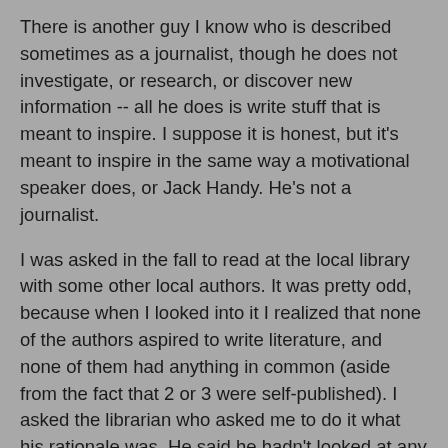There is another guy I know who is described sometimes as a journalist, though he does not investigate, or research, or discover new information -- all he does is write stuff that is meant to inspire. I suppose it is honest, but it's meant to inspire in the same way a motivational speaker does, or Jack Handy. He's not a journalist.
I was asked in the fall to read at the local library with some other local authors. It was pretty odd, because when I looked into it I realized that none of the authors aspired to write literature, and none of them had anything in common (aside from the fact that 2 or 3 were self-published). I asked the librarian who asked me to do it what his rationale was. He said he hadn't looked at any of the work by the authors. How does a librarian become a librarian without a bit of an aptitude for research, or even a tiny bit of curiosity? Anyway, he seemed annoyed that I did not want to be on a panel including self-published authors of self-help books, investment advice books, and books of religious inspirational stories.
Anyway, the message is you spend the morning writing, then